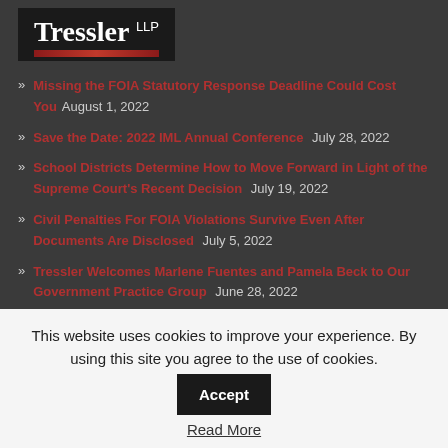[Figure (logo): Tressler LLP law firm logo on dark background with red underline bar]
Missing the FOIA Statutory Response Deadline Could Cost You  August 1, 2022
Save the Date: 2022 IML Annual Conference  July 28, 2022
School Districts Determine How to Move Forward in Light of the Supreme Court's Recent Decision  July 19, 2022
Civil Penalties For FOIA Violations Survive Even After Documents Are Disclosed  July 5, 2022
Tressler Welcomes Marlene Fuentes and Pamela Beck to Our Government Practice Group  June 28, 2022
This website uses cookies to improve your experience. By using this site you agree to the use of cookies. Accept
Read More